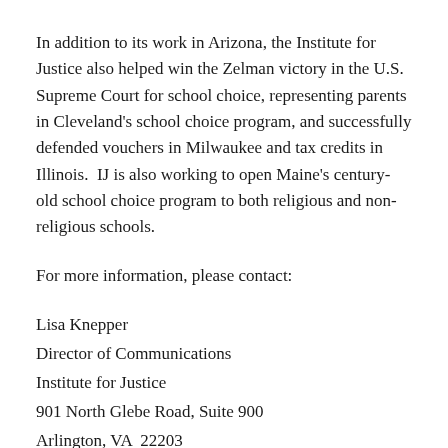In addition to its work in Arizona, the Institute for Justice also helped win the Zelman victory in the U.S. Supreme Court for school choice, representing parents in Cleveland's school choice program, and successfully defended vouchers in Milwaukee and tax credits in Illinois.  IJ is also working to open Maine's century-old school choice program to both religious and non-religious schools.
For more information, please contact:
Lisa Knepper
Director of Communications
Institute for Justice
901 North Glebe Road, Suite 900
Arlington, VA  22203